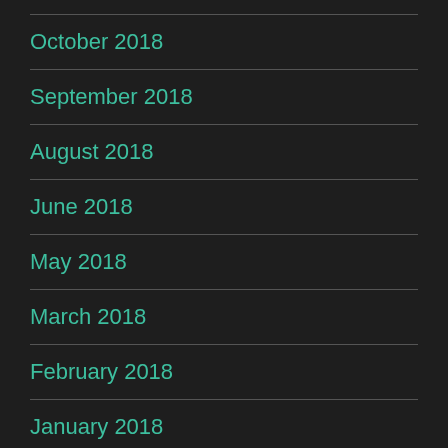October 2018
September 2018
August 2018
June 2018
May 2018
March 2018
February 2018
January 2018